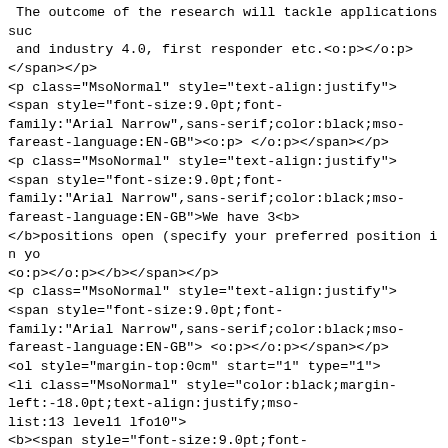The outcome of the research will tackle applications such as and industry 4.0, first responder etc.<o:p></o:p>
</span></p>
<p class="MsoNormal" style="text-align:justify">
<span style="font-size:9.0pt;font-family:"Arial Narrow",sans-serif;color:black;mso-fareast-language:EN-GB"><o:p> </o:p></span></p>
<p class="MsoNormal" style="text-align:justify">
<span style="font-size:9.0pt;font-family:"Arial Narrow",sans-serif;color:black;mso-fareast-language:EN-GB">We have 3<b>
</b>positions open (specify your preferred position in yo
<o:p></o:p></b></span></p>
<p class="MsoNormal" style="text-align:justify">
<span style="font-size:9.0pt;font-family:"Arial Narrow",sans-serif;color:black;mso-fareast-language:EN-GB"> <o:p></o:p></span></p>
<ol style="margin-top:0cm" start="1" type="1">
<li class="MsoNormal" style="color:black;margin-left:-18.0pt;text-align:justify;mso-list:13 level1 lfo10">
<b><span style="font-size:9.0pt;font-family:"Arial Narrow",sans-serif;mso-fareast-language:EN-GB">One experienced Postdoc</span></b>
<span style="font-size:9.0pt;font-family:"Arial Narrow",sans-serif;mso-fareast-language:EN-GB">: we are looking for an experienced
 Postdoc in one or more of the aforementioned areas, with
3 years of Postdoc experience.<o:p></o:p></span></li>
<li class="MsoNormal" style="color:black;margin-left:-18.0pt;text-align:justify;mso-